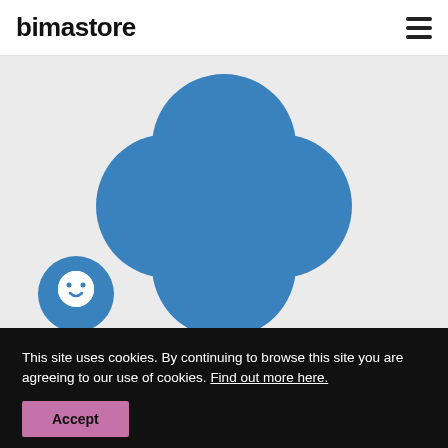bimastore
[Figure (logo): bimastore logo with four overlapping blue circles arranged in a cross/flower pattern on a light grey background, with a small blue chat bubble icon in the lower left]
This site uses cookies. By continuing to browse this site you are agreeing to our use of cookies. Find out more here.
Accept